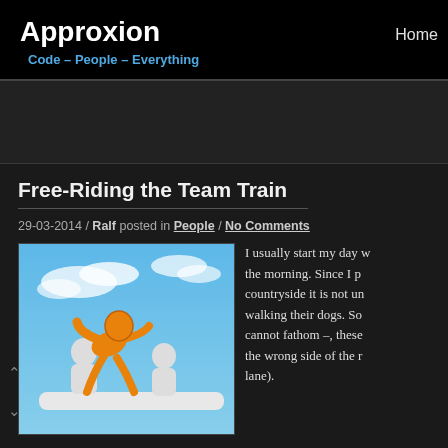Approxion — Code – People – Everything | Home
Free-Riding the Team Train
29-03-2014 / Ralf posted in People / No Comments
[Figure (illustration): Two orange stick figures, one riding/pushing the other on a white sled or bench, against a blue sky with clouds background.]
I usually start my day w... the morning. Since I p... countryside it is not un... walking their dogs. So... cannot fathom –, these... the wrong side of the r... lane).